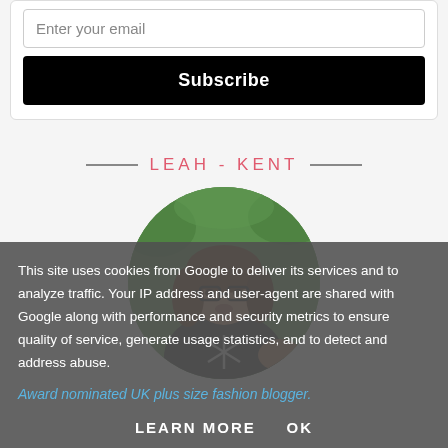Enter your email
Subscribe
LEAH - KENT
[Figure (photo): Circular portrait photo of a woman with glasses and long brown hair, wearing a dark graphic t-shirt, standing outdoors with green foliage in the background]
This site uses cookies from Google to deliver its services and to analyze traffic. Your IP address and user-agent are shared with Google along with performance and security metrics to ensure quality of service, generate usage statistics, and to detect and address abuse.
Award nominated UK plus size fashion blogger.
LEARN MORE   OK